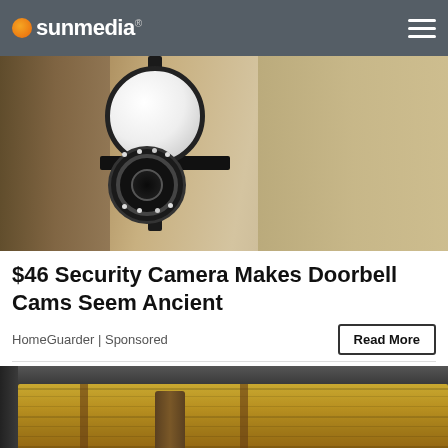sunmedia
[Figure (photo): A security camera mounted on a wall bracket beside a light fixture, showing the camera lens with LED lights around it]
$46 Security Camera Makes Doorbell Cams Seem Ancient
HomeGuarder | Sponsored
[Figure (photo): An open metal briefcase filled with stacks of US $100 dollar bills]